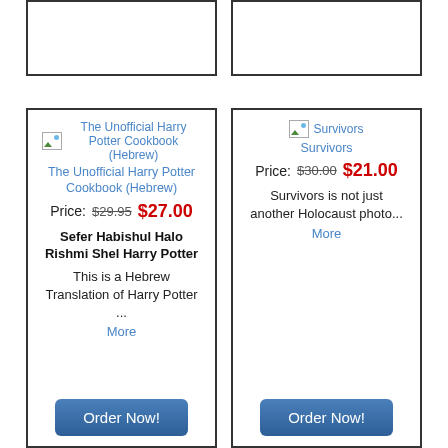[Figure (other): Product card for The Unofficial Harry Potter Cookbook (Hebrew). Shows broken image icon with alt text, book title link in blue, price line with old price $29.95 struck through and new price $27.00 in red, bold subtitle 'Sefer Habishul Halo Rishmi Shel Harry Potter', description 'This is a Hebrew Translation of Harry Potter ...', 'More' link in blue, and 'Order Now!' button.]
[Figure (other): Product card for Survivors. Shows broken image icon with alt text 'Survivors', title link in blue, price line with old price $30.00 struck through and new price $21.00 in red, description 'Survivors is not just another Holocaust photo...', 'More' link in blue, and 'Order Now!' button.]